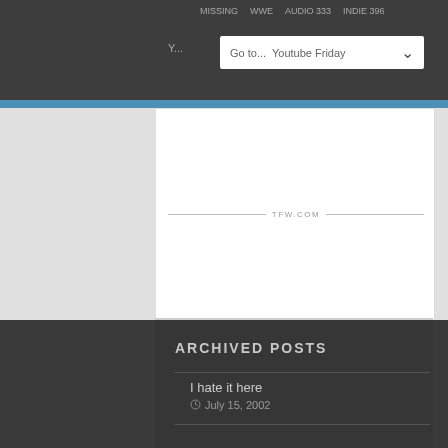Go to... Youtube Friday
[Figure (screenshot): TFW.COM divider line with horizontal rules on either side]
ARCHIVED POSTS
I hate it here
July 15, 2002
Asian Champions League 2011/12 – Brisbane Roar vs FC Tokyo
March 12, 2012
Wicked – The Untold Story of the Witches of Oz
March 19, 2011
Salt, sweet, sugar...